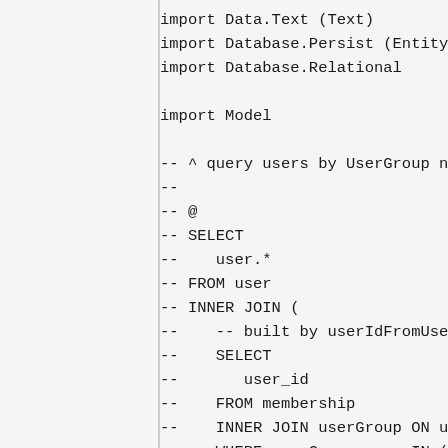import Data.Text (Text)
import Database.Persist (Entity)
import Database.Relational

import Model

-- ^ query users by UserGroup na
--
-- @
-- SELECT
--    user.*
-- FROM user
-- INNER JOIN (
--    -- built by userIdFromUserG
--    SELECT
--       user_id
--    FROM membership
--    INNER JOIN userGroup ON use
--    WHERE userGroup.name IN (<<